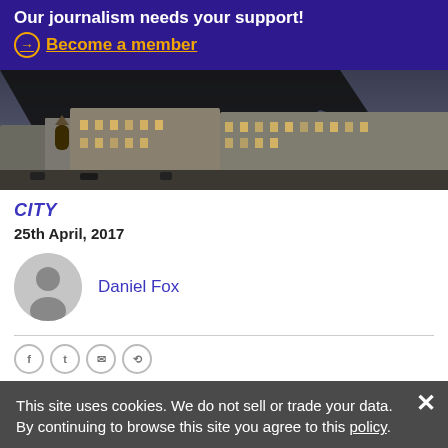Our journalism needs your support! → Become a member
[Figure (photo): Aerial/elevated view of a historic city centre at dusk with lit buildings and gothic architecture, with a dark structure/umbrella partially obscuring the top of the image.]
CITY
25th April, 2017
Daniel Fox
This site uses cookies. We do not sell or trade your data. By continuing to browse this site you agree to this policy.
The government is
READ MORE FROM